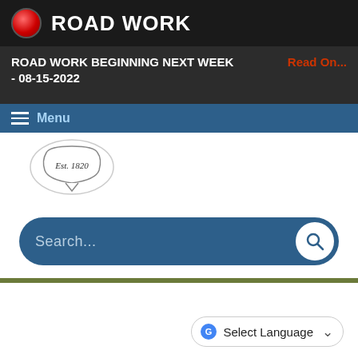ROAD WORK
ROAD WORK BEGINNING NEXT WEEK - 08-15-2022  Read On...
Menu
[Figure (logo): Partial municipal seal/logo with 'Est. 1820' text]
[Figure (other): Search bar with 'Search...' placeholder text and a magnifying glass search button]
Select Language